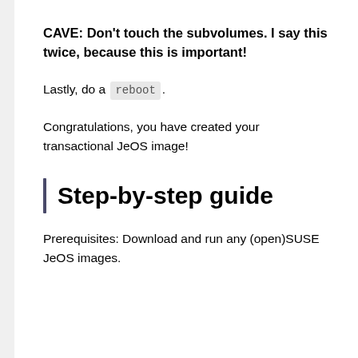CAVE: Don't touch the subvolumes. I say this twice, because this is important!
Lastly, do a reboot.
Congratulations, you have created your transactional JeOS image!
Step-by-step guide
Prerequisites: Download and run any (open)SUSE JeOS images.